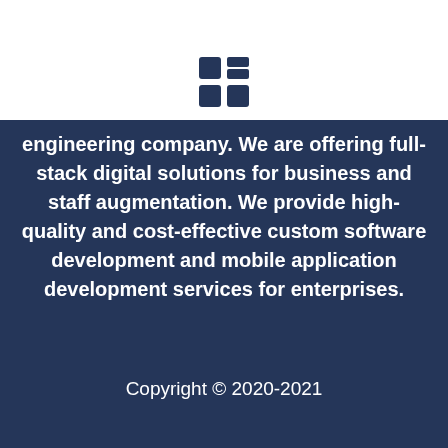[Figure (logo): Four-square grid logo icon in dark navy blue on white background]
...only. A full-service software engineering company. We are offering full-stack digital solutions for business and staff augmentation. We provide high-quality and cost-effective custom software development and mobile application development services for enterprises.
Copyright © 2020-2021